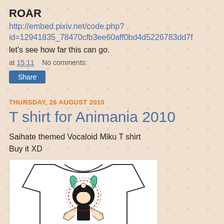ROAR
http://embed.pixiv.net/code.php?id=12941835_78470cfb3ee60aff0bd4d5226783dd7f
let's see how far this can go.
at 15:11   No comments:
Share
THURSDAY, 26 AUGUST 2010
T shirt for Animania 2010
Saihate themed Vocaloid Miku T shirt
Buy it XD
[Figure (illustration): White T-shirt with Vocaloid Hatsune Miku design in Saihate theme, showing character with teal hair bowing, surrounded by decorative black and white elements]